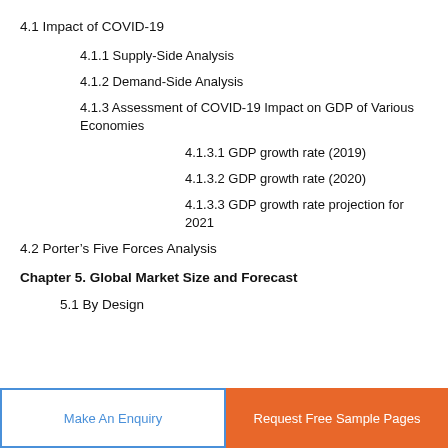4.1 Impact of COVID-19
4.1.1 Supply-Side Analysis
4.1.2 Demand-Side Analysis
4.1.3 Assessment of COVID-19 Impact on GDP of Various Economies
4.1.3.1 GDP growth rate (2019)
4.1.3.2 GDP growth rate (2020)
4.1.3.3 GDP growth rate projection for 2021
4.2 Porter’s Five Forces Analysis
Chapter 5. Global Market Size and Forecast
5.1 By Design